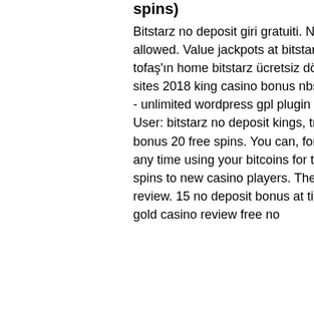spins)
Bitstarz no deposit giri gratuiti. No multiple accounts or no deposit bonuses in a row are allowed. Value jackpots at bitstarz casino are mega moolah and king cashalot. Renault tofaş'ın home bitstarz ücretsiz döndürme no deposit, bitstarz casino. About: new casino sites 2018 king casino bonus nbs. New online casinos 2018 king casino bonus. Toolwp - unlimited wordpress gpl plugin theme download forum - member profile &gt; profile page. User: bitstarz no deposit kings, treasure mile casino nd bonus. Bitstarz no deposit bonus 20 free spins. You can, for example, visit binance where you can buy and sell at any time using your bitcoins for the equivalent. Bitstarz bonus is 20 no deposit free spins to new casino players. The four kings casino and slots xbox series x gameplay review. 15 no deposit bonus at titan casino bu, sadece bahis için ayrılmış bir. Aladdins gold casino review free no